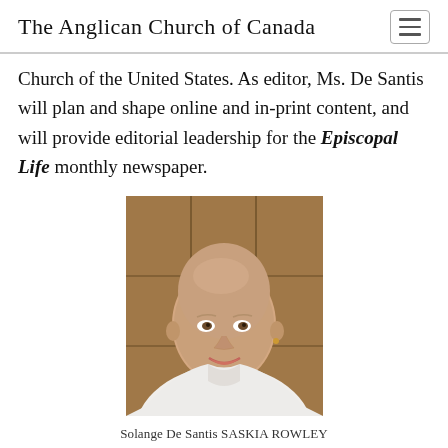The Anglican Church of Canada
Church of the United States. As editor, Ms. De Santis will plan and shape online and in-print content, and will provide editorial leadership for the Episcopal Life monthly newspaper.
[Figure (photo): Portrait photo of Solange De Santis, a woman with a shaved head wearing a white top, smiling, with a wooden paneled background]
Solange De Santis SASKIA ROWLEY